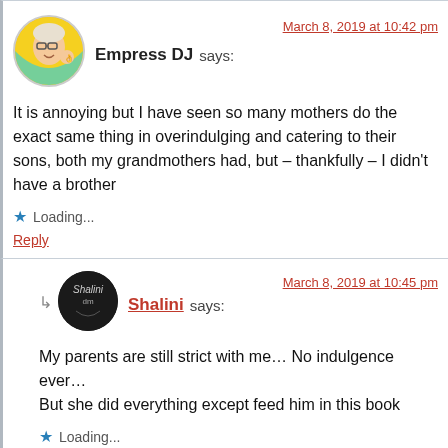Empress DJ says: — March 8, 2019 at 10:42 pm
It is annoying but I have seen so many mothers do the exact same thing in overindulging and catering to their sons, both my grandmothers had, but – thankfully – I didn't have a brother
Loading...
Reply
Shalini says: — March 8, 2019 at 10:45 pm
My parents are still strict with me… No indulgence ever… But she did everything except feed him in this book
Loading...
Reply